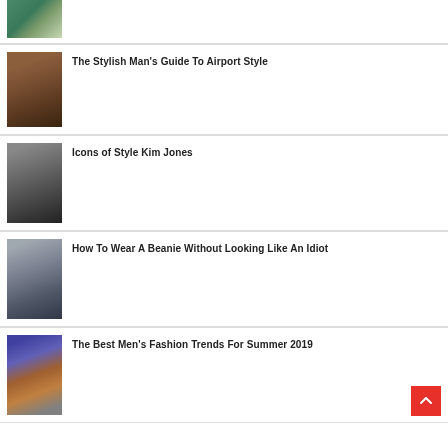[Figure (photo): Partial view of a product on a green background - top portion only visible]
The Stylish Man's Guide To Airport Style
[Figure (photo): Man wearing brown leather jacket against dark background]
Icons of Style Kim Jones
[Figure (photo): Black and white portrait of Kim Jones in black hoodie]
How To Wear A Beanie Without Looking Like An Idiot
[Figure (photo): Young man wearing a grey beanie hat]
The Best Men's Fashion Trends For Summer 2019
[Figure (photo): Group of men in colorful fashion outfits on runway]